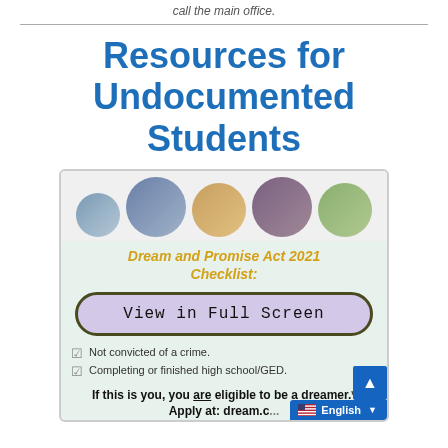call the main office.
Resources for Undocumented Students
[Figure (infographic): Infographic showing Dream and Promise Act 2021 Checklist with circular photos of diverse students at top, a 'View in Full Screen' button, checklist items including 'Not convicted of a crime.' and 'Completing or finished high school/GED.', followed by text 'If this is you, you are eligible to be a dreamer.*' and 'Apply at: dream.c...' with a language selector showing English and a scroll-up button.]